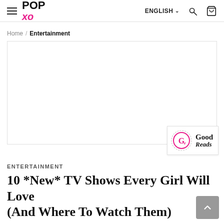POP XO — ENGLISH
Home / Entertainment
[Figure (other): Large blank white banner/advertisement area with a Good Reads badge in the bottom-right corner showing a circular pink G icon and the text 'Good Reads']
ENTERTAINMENT
10 *New* TV Shows Every Girl Will Love (And Where To Watch Them)